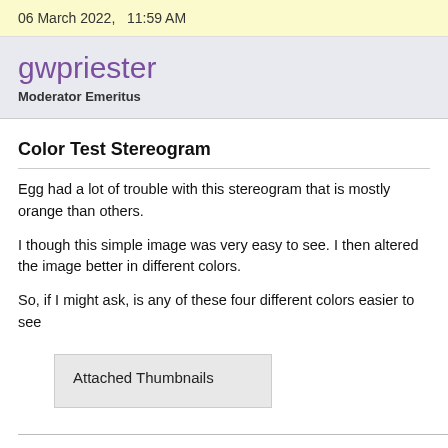06 March 2022,   11:59 AM
gwpriester
Moderator Emeritus
Color Test Stereogram
Egg had a lot of trouble with this stereogram that is mostly orange than others.
I though this simple image was very easy to see. I then altered the image better in different colors.
So, if I might ask, is any of these four different colors easier to see
Attached Thumbnails
Gary W. Priester
Mr. Moderator Emeritus Dude, Sir
gwpriester.com | eyetricks-3d-stereograms.com | eyeTricks on Fac